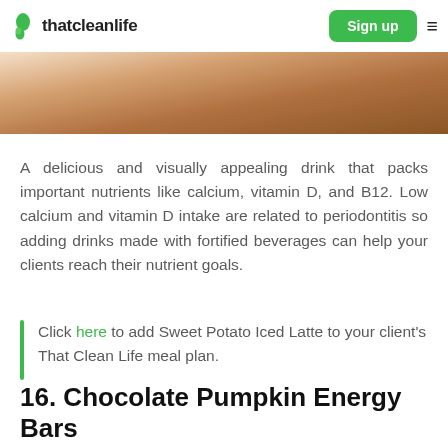thatcleanlife | Sign up
[Figure (photo): Partial view of a Sweet Potato Iced Latte drink on a wooden surface, warm tones]
A delicious and visually appealing drink that packs important nutrients like calcium, vitamin D, and B12. Low calcium and vitamin D intake are related to periodontitis so adding drinks made with fortified beverages can help your clients reach their nutrient goals.
Click here to add Sweet Potato Iced Latte to your client's That Clean Life meal plan.
16. Chocolate Pumpkin Energy Bars